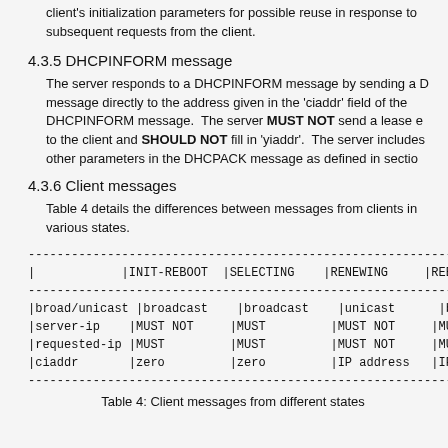client's initialization parameters for possible reuse in response to subsequent requests from the client.
4.3.5 DHCPINFORM message
The server responds to a DHCPINFORM message by sending a DHCPACK message directly to the address given in the 'ciaddr' field of the DHCPINFORM message.  The server MUST NOT send a lease expiration time to the client and SHOULD NOT fill in 'yiaddr'.  The server includes other parameters in the DHCPACK message as defined in section 4.3.1.
4.3.6 Client messages
Table 4 details the differences between messages from clients in various states.
| | | |INIT-REBOOT | |SELECTING | |RENEWING | |REBINDING |
| --- | --- | --- | --- | --- |
| |broad/unicast | |broadcast | |broadcast | |unicast | |broadcast | |
| |server-ip | |MUST NOT | |MUST | |MUST NOT | |MUST NOT |
| |requested-ip | |MUST | |MUST | |MUST NOT | |MUST NOT |
| |ciaddr | |zero | |zero | |IP address | |IP address| |
Table 4: Client messages from different states